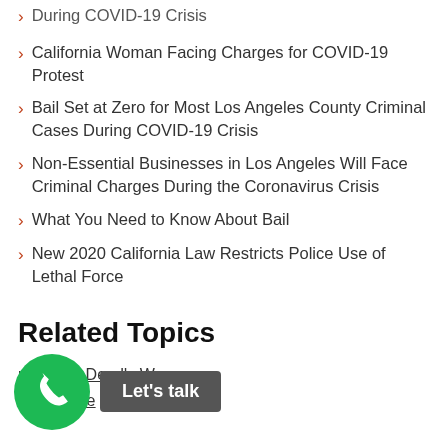During COVID-19 Crisis (truncated top)
California Woman Facing Charges for COVID-19 Protest
Bail Set at Zero for Most Los Angeles County Criminal Cases During COVID-19 Crisis
Non-Essential Businesses in Los Angeles Will Face Criminal Charges During the Coronavirus Crisis
What You Need to Know About Bail
New 2020 California Law Restricts Police Use of Lethal Force
Related Topics
ult with a Deadly Weapon
ry Defense